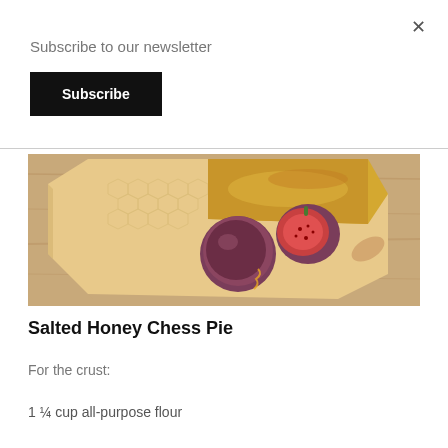×
Subscribe to our newsletter
Subscribe
[Figure (photo): A wooden hexagonal serving board with figs (one whole, one halved showing red interior) and a piece of golden baked chess pie on a light wood table background.]
Salted Honey Chess Pie
For the crust:
1 ¼ cup all-purpose flour